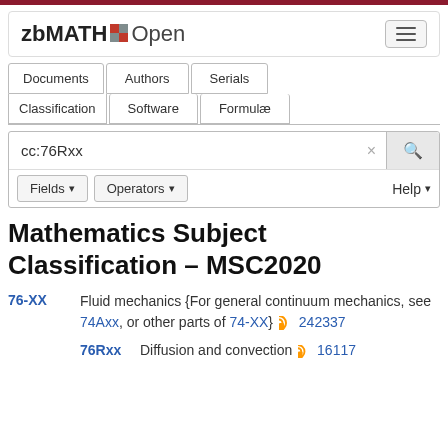[Figure (logo): zbMATH Open logo with navigation tabs (Documents, Authors, Serials, Classification, Software, Formulae) and search bar with cc:76Rxx query]
Mathematics Subject Classification – MSC2020
76-XX  Fluid mechanics {For general continuum mechanics, see 74Axx, or other parts of 74-XX}  242337
76Rxx  Diffusion and convection  16117